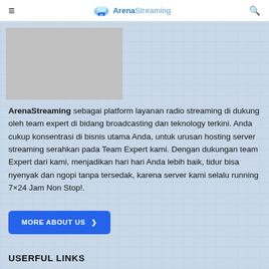≡ ArenaStreaming 🔍
[Figure (photo): Gray placeholder image in upper left]
ArenaStreaming sebagai platform layanan radio streaming di dukung oleh team expert di bidang broadcasting dan teknology terkini. Anda cukup konsentrasi di bisnis utama Anda, untuk urusan hosting server streaming serahkan pada Team Expert kami. Dengan dukungan team Expert dari kami, menjadikan hari hari Anda lebih baik, tidur bisa nyenyak dan ngopi tanpa tersedak, karena server kami selalu running 7×24 Jam Non Stop!.
MORE ABOUT US ›
USERFUL LINKS